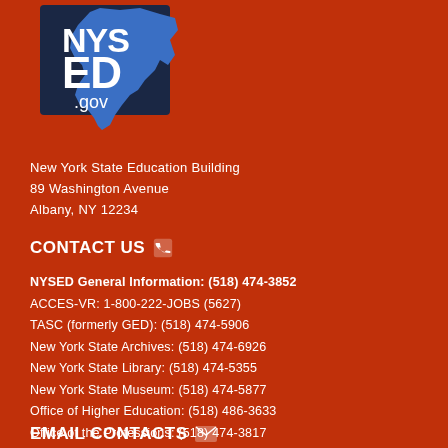[Figure (logo): NYSED.gov logo — dark navy background with white text 'NYS ED' and '.gov', with blue New York state silhouette shape]
New York State Education Building
89 Washington Avenue
Albany, NY 12234
CONTACT US
NYSED General Information: (518) 474-3852
ACCES-VR: 1-800-222-JOBS (5627)
TASC (formerly GED): (518) 474-5906
New York State Archives: (518) 474-6926
New York State Library: (518) 474-5355
New York State Museum: (518) 474-5877
Office of Higher Education: (518) 486-3633
Office of the Professions: (518) 474-3817
P-12 Education: (518) 474-3862
EMAIL CONTACTS